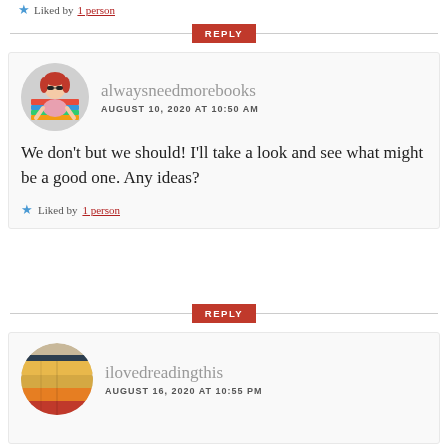Liked by 1 person
REPLY
alwaysneedmorebooks
AUGUST 10, 2020 AT 10:50 AM
We don't but we should! I'll take a look and see what might be a good one. Any ideas?
Liked by 1 person
REPLY
ilovedreadingthis
AUGUST 16, 2020 AT 10:55 PM